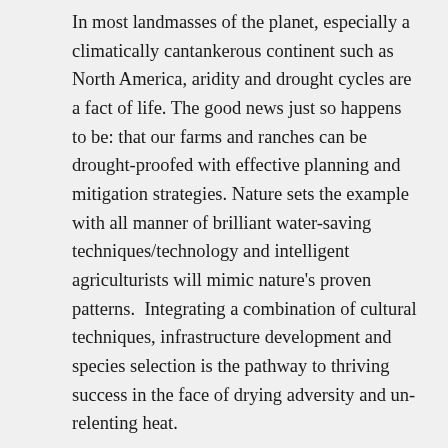In most landmasses of the planet, especially a climatically cantankerous continent such as North America, aridity and drought cycles are a fact of life. The good news just so happens to be: that our farms and ranches can be drought-proofed with effective planning and mitigation strategies. Nature sets the example with all manner of brilliant water-saving techniques/technology and intelligent agriculturists will mimic nature's proven patterns.  Integrating a combination of cultural techniques, infrastructure development and species selection is the pathway to thriving success in the face of drying adversity and un-relenting heat.
The first order of business is choosing appropriate plant species.  Perennials are generally more drought forgiving than annual plants since they possess permanent root systems which take root deeply and often have specialized moisture storage organs adapted to surviving in dry